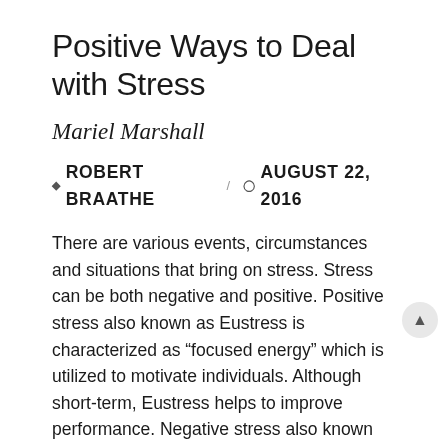Positive Ways to Deal with Stress
Mariel Marshall
ROBERT BRAATHE / AUGUST 22, 2016
There are various events, circumstances and situations that bring on stress. Stress can be both negative and positive. Positive stress also known as Eustress is characterized as “focused energy” which is utilized to motivate individuals. Although short-term, Eustress helps to improve performance. Negative stress also known as Distress can be characterized as anxious or unpleasant. Distress can be long-term or short-term thus decreases performance.